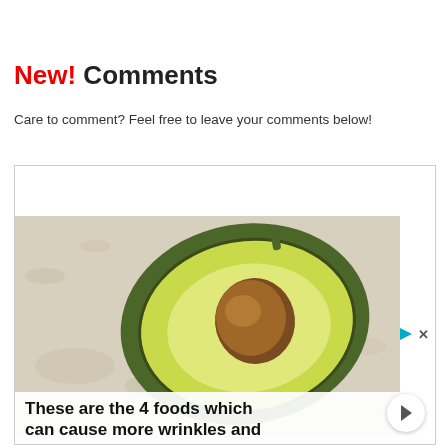New! Comments
Care to comment? Feel free to leave your comments below!
[Figure (photo): Advertisement showing a halved avocado with pit on a light marble/stone surface, with bold text overlay reading 'These are the 4 foods which can cause more wrinkles and' and playback/close controls in top right.]